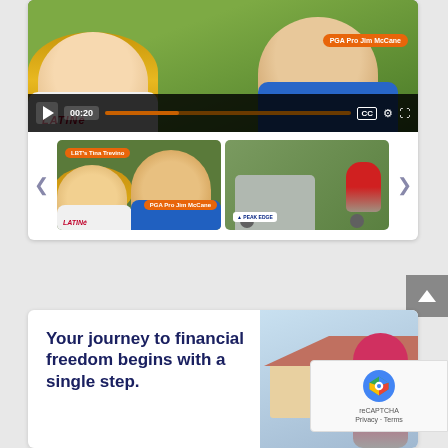[Figure (screenshot): Video player showing two people (woman with blonde hair, man in blue jacket) on golf course background. Controls show 00:20 timestamp, play button, progress bar, CC, settings, and fullscreen icons. Label 'PGA Pro Jim McCane' in orange. Below are two video thumbnails with navigation arrows. Thumbnail 1 shows same couple with labels 'LBT's Tina Trevino' and 'PGA Pro Jim McCane'. Thumbnail 2 shows golf cart scene with logo.]
[Figure (photo): Advertisement card showing text 'Your journey to financial freedom begins with a single step.' on left, and photo of woman in pink/magenta top jumping in front of a house on right.]